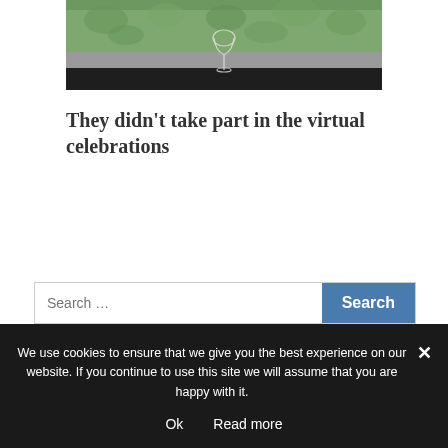[Figure (photo): Photo of a wine glass on a surface with green foliage in background, dark strip at bottom]
They didn't take part in the virtual celebrations
Search …
We use cookies to ensure that we give you the best experience on our website. If you continue to use this site we will assume that you are happy with it.
Ok   Read more